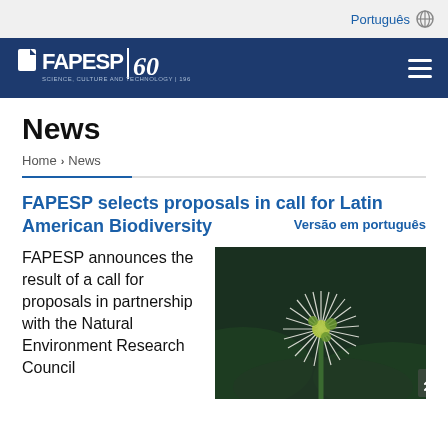Português
[Figure (logo): FAPESP 60 anniversary logo in white on dark blue navigation bar]
News
Home > News
FAPESP selects proposals in call for Latin American Biodiversity
Versão em português
FAPESP announces the result of a call for proposals in partnership with the Natural Environment Research Council
[Figure (photo): Close-up photograph of a white spiky tropical flower with green buds on dark green background]